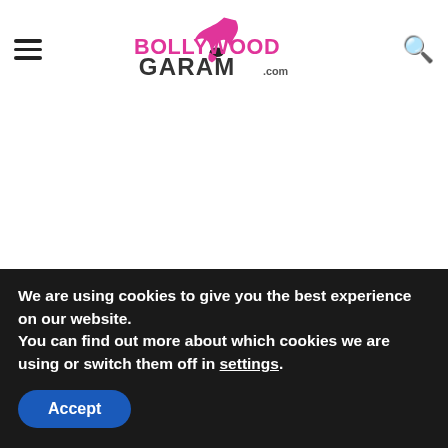BollywoodGaram.com — navigation header with hamburger menu, logo, and search icon
[Figure (logo): BollywoodGaram.com logo in pink and black with flame/bird graphic]
BollywoodGaram.com: The latest media reports have claimed that Bollywood actress Aishwarya Rai – who is yet to return to
We are using cookies to give you the best experience on our website.
You can find out more about which cookies we are using or switch them off in settings.
Accept